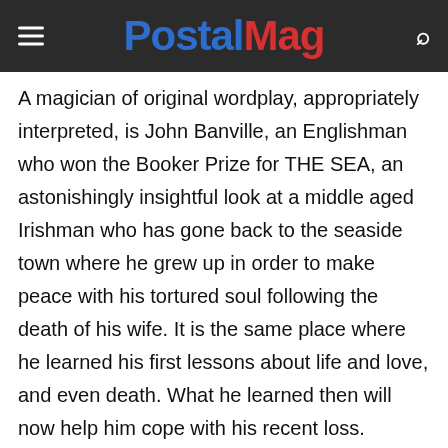PostalMag
A magician of original wordplay, appropriately interpreted, is John Banville, an Englishman who won the Booker Prize for THE SEA, an astonishingly insightful look at a middle aged Irishman who has gone back to the seaside town where he grew up in order to make peace with his tortured soul following the death of his wife. It is the same place where he learned his first lessons about life and love, and even death. What he learned then will now help him cope with his recent loss. Narrator is John Lee, who has the Irish accent down pat for this introspective, wise, and remarkably real telling of a man's story in a way that most men often find themselves incapable of relating.